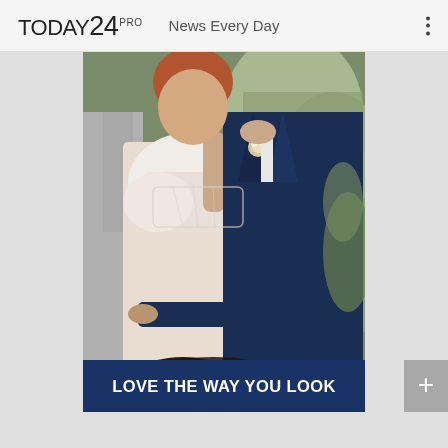TODAY24 PRO  News Every Day
[Figure (photo): Wedding scene: a bride in an off-shoulder white dress and groom in a navy suit embrace at an outdoor ceremony, with a blurred audience member visible in the foreground.]
LOVE THE WAY YOU LOOK